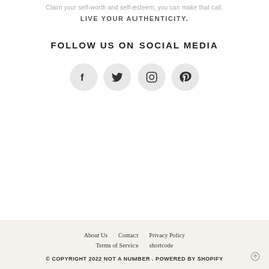Claim your self-worth and self-esteem, you can make that call.
LIVE YOUR AUTHENTICITY.
FOLLOW US ON SOCIAL MEDIA
[Figure (infographic): Four social media icon circles: Facebook, Twitter, Instagram, Pinterest]
About Us   Contact   Privacy Policy   Terms of Service   shortcode   © COPYRIGHT 2022 NOT A NUMBER . POWERED BY SHOPIFY